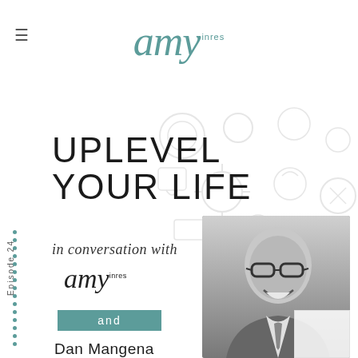amy inres
[Figure (illustration): Decorative background line art icons (coffee cups, social media, clocks, speech bubbles)]
UPLEVEL YOUR LIFE
in conversation with
[Figure (logo): Amy inres logo small]
and
Dan Mangena
Episode 24
[Figure (photo): Black and white portrait photo of Dan Mangena, a man wearing glasses and a suit jacket, smiling]